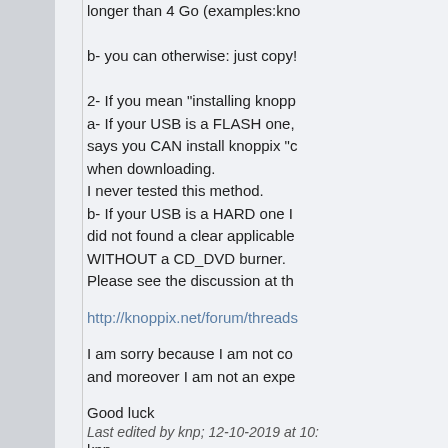longer than 4 Go (examples:kno

b- you can otherwise: just copy!

2- If you mean "installing knopp
a- If your USB is a FLASH one,
says you CAN install knoppix "c
when downloading.
I never tested this method.
b- If your USB is a HARD one I
did not found a clear applicable
WITHOUT a CD_DVD burner.
Please see the discussion at th
http://knoppix.net/forum/threads
I am sorry because I am not co
and moreover I am not an expe
Good luck
knp
Last edited by knp; 12-10-2019 at 10: